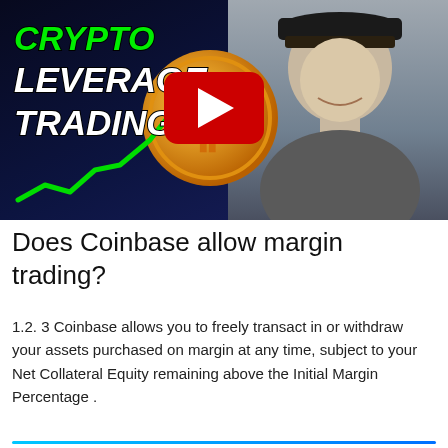[Figure (screenshot): YouTube video thumbnail for 'Crypto Leverage Trading' showing bold green and white text on dark blue background with a Bitcoin coin graphic, green stock chart arrow, a young man wearing a black cap and grey shirt, and a YouTube play button overlay.]
Does Coinbase allow margin trading?
1.2. 3 Coinbase allows you to freely transact in or withdraw your assets purchased on margin at any time, subject to your Net Collateral Equity remaining above the Initial Margin Percentage .